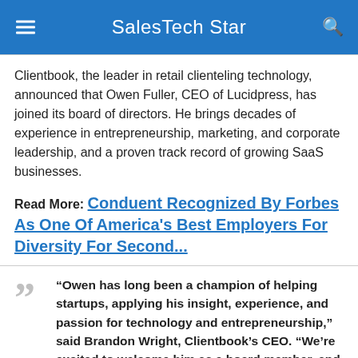SalesTech Star
Clientbook, the leader in retail clienteling technology, announced that Owen Fuller, CEO of Lucidpress, has joined its board of directors. He brings decades of experience in entrepreneurship, marketing, and corporate leadership, and a proven track record of growing SaaS businesses.
Read More: Conduent Recognized By Forbes As One Of America's Best Employers For Diversity For Second...
“Owen has long been a champion of helping startups, applying his insight, experience, and passion for technology and entrepreneurship,” said Brandon Wright, Clientbook’s CEO. “We’re excited to welcome him as a board member, and I know that all of us will benefit from his leadership and